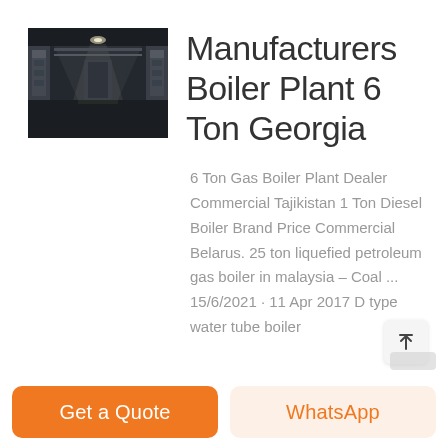[Figure (photo): Industrial boiler plant interior hallway with equipment on both sides, dark industrial setting]
Manufacturers Boiler Plant 6 Ton Georgia
6 Ton Gas Boiler Plant Dealer Commercial Tajikistan 1 Ton Diesel Boiler Brand Price Commercial Belarus. 25 ton liquefied petroleum gas boiler in malaysia – Coal ... 15/6/2021 · 11 Apr 2017 D type water tube boiler